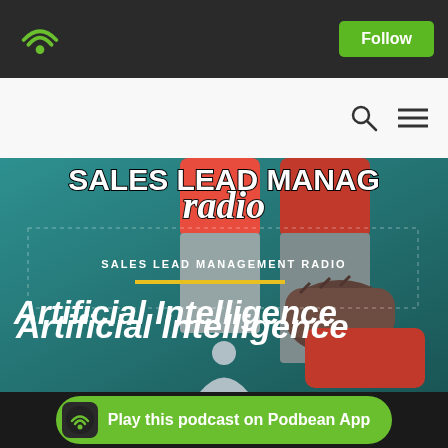[Figure (screenshot): Podbean podcast app screenshot showing Sales Lead Management Radio episode about Artificial Intelligence. Features dark top navigation bar with WiFi/Podbean logo and Follow button, white search bar area with search and menu icons, teal/dark green podcast artwork showing 'SALES LEAD MANAGEMENT RADIO' text and 'radio' in italic, magnet illustration, yellow divider bar, large white italic 'Artificial Intelligence' title text, and green bottom CTA bar saying 'Play this podcast on Podbean App'.]